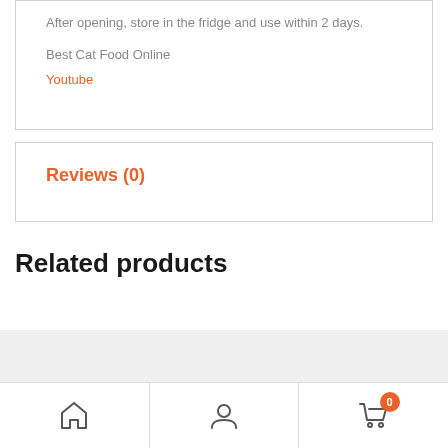After opening, store in the fridge and use within 2 days.
Best Cat Food Online
Youtube
Reviews (0)
Related products
Home | Account | Cart (0)